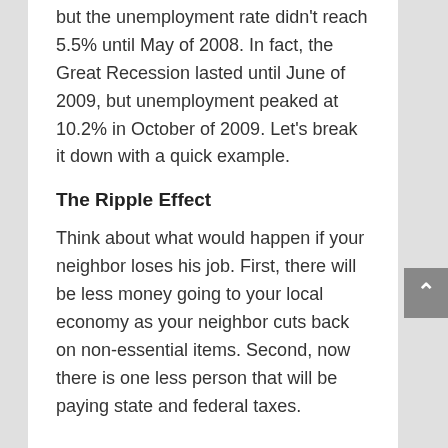but the unemployment rate didn't reach 5.5% until May of 2008. In fact, the Great Recession lasted until June of 2009, but unemployment peaked at 10.2% in October of 2009. Let's break it down with a quick example.
The Ripple Effect
Think about what would happen if your neighbor loses his job. First, there will be less money going to your local economy as your neighbor cuts back on non-essential items. Second, now there is one less person that will be paying state and federal taxes.